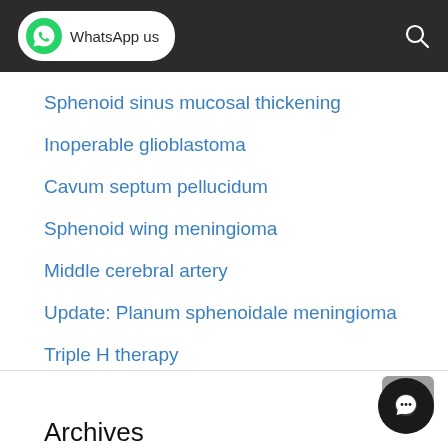WhatsApp us
Sphenoid sinus mucosal thickening
Inoperable glioblastoma
Cavum septum pellucidum
Sphenoid wing meningioma
Middle cerebral artery
Update: Planum sphenoidale meningioma
Triple H therapy
Middle Meningeal Artery Embolization
Archives